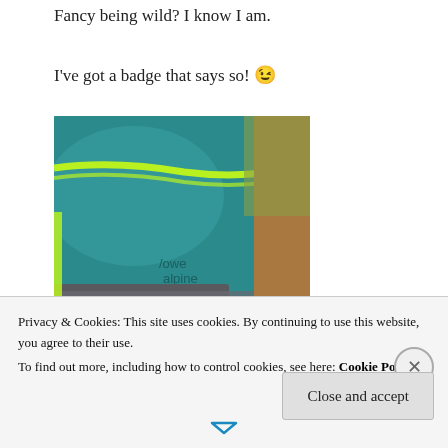Fancy being wild? I know I am.
I've got a badge that says so! 😉
[Figure (photo): Close-up photo of a teal/turquoise Lowe Alpine backpack with neon yellow-green zipper, resting on a person's leg, with leaf litter visible in background.]
Privacy & Cookies: This site uses cookies. By continuing to use this website, you agree to their use.
To find out more, including how to control cookies, see here: Cookie Policy